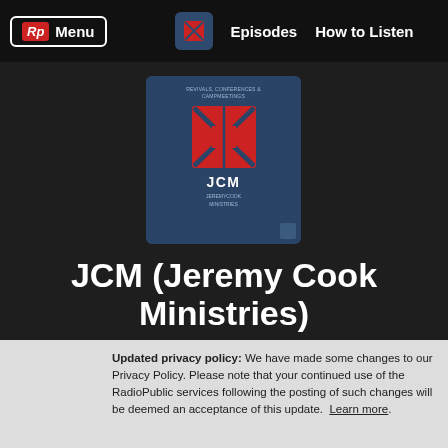Rp Menu | Episodes | How to Listen
[Figure (illustration): JCM podcast cover art: blue background with red cross/flag logo, text reading REVIVALS CONFERENCES & CAMPMEETINGS, JCM, JEREMYCOOK MINISTRIES]
JCM (Jeremy Cook Ministries)
119 Episodes | Produced by Jeremy Cook | Website
Hi! Is this your podcast? Verify your show and get free RadioPublic. Get started
Updated privacy policy: We have made some changes to our Privacy Policy. Please note that your continued use of the RadioPublic services following the posting of such changes will be deemed an acceptance of this update. Learn more.